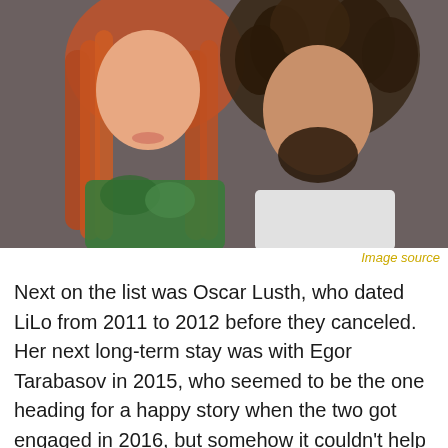[Figure (photo): Photo of a woman with long red hair wearing a green floral outfit and a man with long curly dark hair and a beard, cropped at the top of the page.]
Image source
Next on the list was Oscar Lusth, who dated LiLo from 2011 to 2012 before they canceled. Her next long-term stay was with Egor Tarabasov in 2015, who seemed to be the one heading for a happy story when the two got engaged in 2016, but somehow it couldn't help but go wrong when the engagement was later broken off and the two left when she claimed her then 23-year-old lover was completely broke. At least Lohan didn't lose on all sides, she was allowed to keep the 300,000